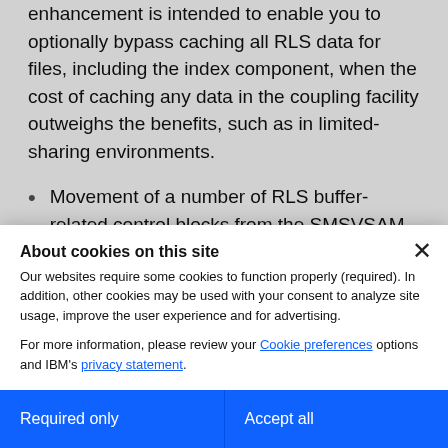enhancement is intended to enable you to optionally bypass caching all RLS data for files, including the index component, when the cost of caching any data in the coupling facility outweighs the benefits, such as in limited-sharing environments.
Movement of a number of RLS buffer-related control blocks from the SMSVSAM data space into 64-bit storage. This is intended to increase the amount of
About cookies on this site
Our websites require some cookies to function properly (required). In addition, other cookies may be used with your consent to analyze site usage, improve the user experience and for advertising.
For more information, please review your Cookie preferences options and IBM's privacy statement.